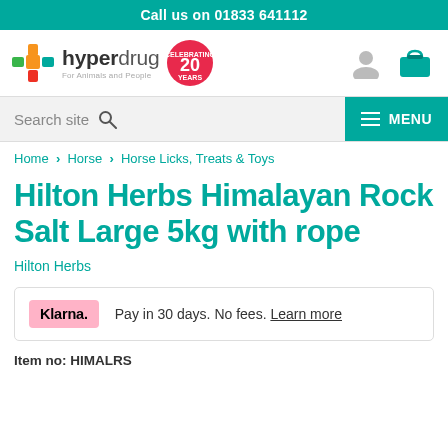Call us on 01833 641112
[Figure (logo): Hyperdrug logo with cross icon, '20 Years Celebrating' badge, user icon and cart icon]
Search site
MENU
Home › Horse › Horse Licks, Treats & Toys
Hilton Herbs Himalayan Rock Salt Large 5kg with rope
Hilton Herbs
Klarna. Pay in 30 days. No fees. Learn more
Item no: HIMALRS